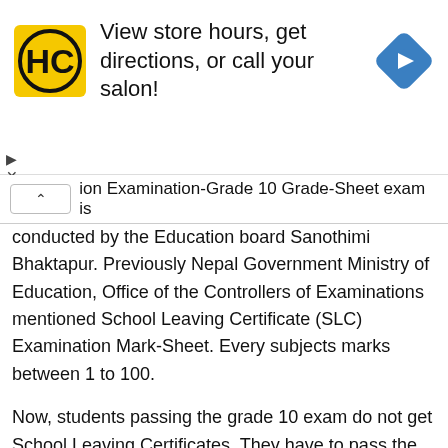[Figure (infographic): Advertisement banner showing HC salon logo on yellow square background, text 'View store hours, get directions, or call your salon!', and a blue diamond-shaped navigation icon on the right.]
ion Examination-Grade 10 Grade-Sheet exam is conducted by the Education board Sanothimi Bhaktapur. Previously Nepal Government Ministry of Education, Office of the Controllers of Examinations mentioned School Leaving Certificate (SLC) Examination Mark-Sheet. Every subjects marks between 1 to 100.
Now, students passing the grade 10 exam do not get School Leaving Certificates. They have to pass the Secondary Level Examination (1-10) conducted by Education Board, Sanothimi Bhaktapur and the higher secondary exam (11-12) conducted by National Examination Board to get the School Leaving Certificate(SLC) for higher University level education.
We want to clear that those students passing the class 10 examination are not equal to the previous SLC students.